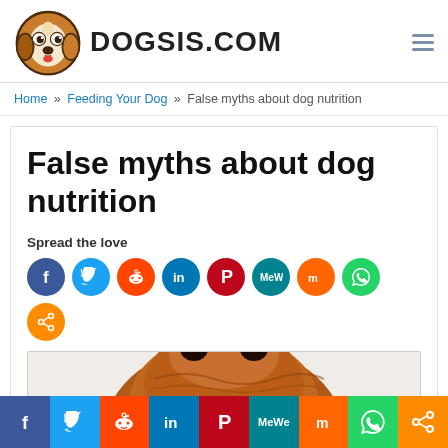DOGSIS.COM
Home » Feeding Your Dog » False myths about dog nutrition
False myths about dog nutrition
Spread the love
[Figure (other): Social sharing icons: Facebook, Twitter, Reddit, LinkedIn, Pinterest, MeWe, Mix, WhatsApp, Share]
[Figure (photo): Partial photo of a brown dog, showing top of head and eyes, peeking from bottom of frame]
[Figure (other): Bottom social sharing bar with icons: Facebook, Twitter, Reddit, LinkedIn, Pinterest, MeWe, Mix, WhatsApp, Share]